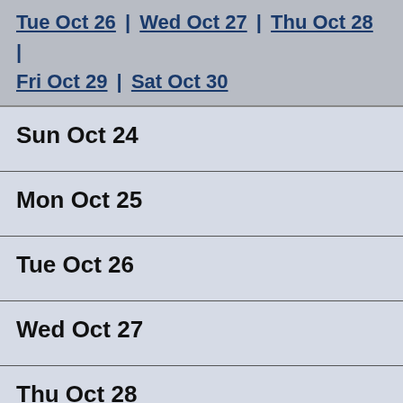Tue Oct 26 | Wed Oct 27 | Thu Oct 28 | Fri Oct 29 | Sat Oct 30
Sun Oct 24
Mon Oct 25
Tue Oct 26
Wed Oct 27
Thu Oct 28